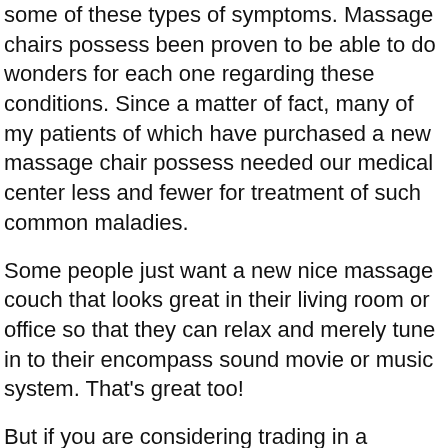some of these types of symptoms. Massage chairs possess been proven to be able to do wonders for each one regarding these conditions. Since a matter of fact, many of my patients of which have purchased a new massage chair possess needed our medical center less and fewer for treatment of such common maladies.
Some people just want a new nice massage couch that looks great in their living room or office so that they can relax and merely tune in to their encompass sound movie or music system. That's great too!
But if you are considering trading in a robotic massage chair recliner, there are some things want to consider before buying. What I'm about to tell you will certainly give you exactly what you need